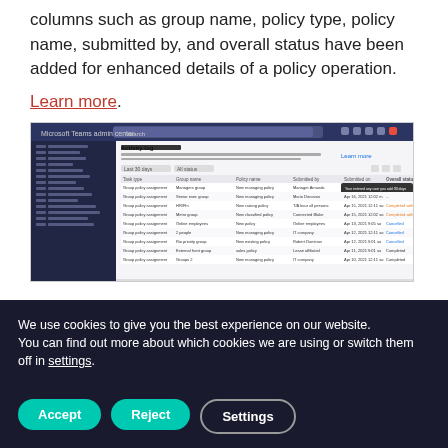columns such as group name, policy type, policy name, submitted by, and overall status have been added for enhanced details of a policy operation.
Learn more.
[Figure (screenshot): Screenshot of Microsoft Teams admin center Activity log page showing a table with policy operation details including columns for group name, policy type, policy name, submitted by, and overall status.]
We use cookies to give you the best experience on our website.
You can find out more about which cookies we are using or switch them off in settings.
Accept
Reject
Settings